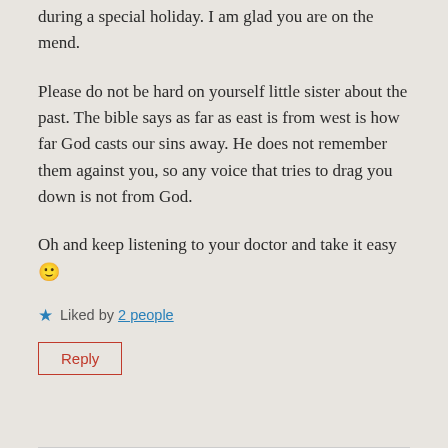during a special holiday. I am glad you are on the mend.
Please do not be hard on yourself little sister about the past. The bible says as far as east is from west is how far God casts our sins away. He does not remember them against you, so any voice that tries to drag you down is not from God.
Oh and keep listening to your doctor and take it easy 🙂
★ Liked by 2 people
Reply